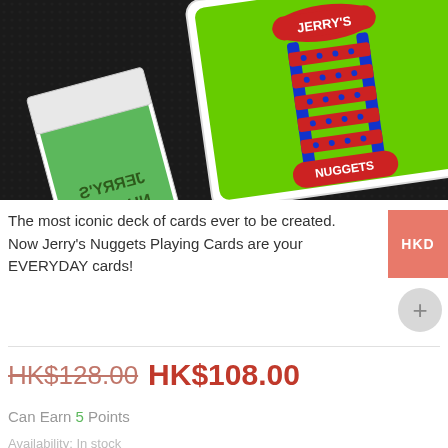[Figure (photo): Jerry's Nuggets playing cards - green card box and card face shown on dark leather background. The card back shows the Jerry's Nuggets design with blue ladder/rail pattern and red elements on bright green background.]
The most iconic deck of cards ever to be created. Now Jerry's Nuggets Playing Cards are your EVERYDAY cards!
HK$128.00 HK$108.00
Can Earn 5 Points